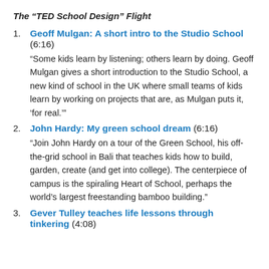The “TED School Design” Flight
Geoff Mulgan: A short intro to the Studio School (6:16) “Some kids learn by listening; others learn by doing. Geoff Mulgan gives a short introduction to the Studio School, a new kind of school in the UK where small teams of kids learn by working on projects that are, as Mulgan puts it, ‘for real.’”
John Hardy: My green school dream (6:16) “Join John Hardy on a tour of the Green School, his off-the-grid school in Bali that teaches kids how to build, garden, create (and get into college). The centerpiece of campus is the spiraling Heart of School, perhaps the world’s largest freestanding bamboo building.”
Gever Tulley teaches life lessons through tinkering (4:08)